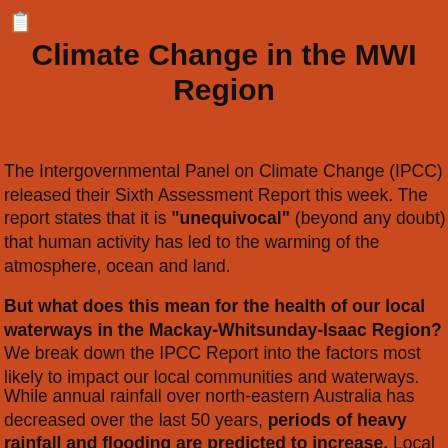[Figure (other): Small document/grid icon in top-left corner]
Climate Change in the MWI Region
The Intergovernmental Panel on Climate Change (IPCC) released their Sixth Assessment Report this week. The report states that it is "unequivocal" (beyond any doubt) that human activity has led to the warming of the atmosphere, ocean and land.
But what does this mean for the health of our local waterways in the Mackay-Whitsunday-Isaac Region? We break down the IPCC Report into the factors most likely to impact our local communities and waterways.
While annual rainfall over north-eastern Australia has decreased over the last 50 years, periods of heavy rainfall and flooding are predicted to increase. Local farmers can expect wet seasons to